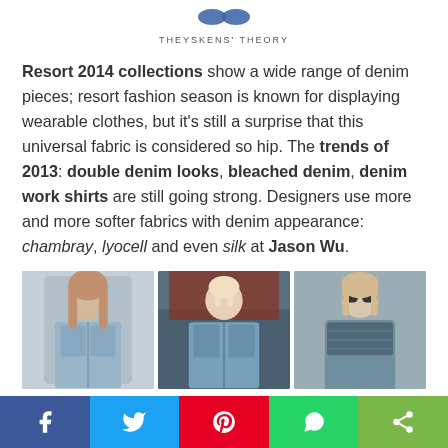THEYSKENS' THEORY
Resort 2014 collections show a wide range of denim pieces; resort fashion season is known for displaying wearable clothes, but it's still a surprise that this universal fabric is considered so hip. The trends of 2013: double denim looks, bleached denim, denim work shirts are still going strong. Designers use more and more softer fabrics with denim appearance: chambray, lyocell and even silk at Jason Wu.
[Figure (photo): Three fashion photos showing models wearing denim outfits from Resort 2014 collections]
Social share bar: Facebook, Twitter, Pinterest, WhatsApp, Share